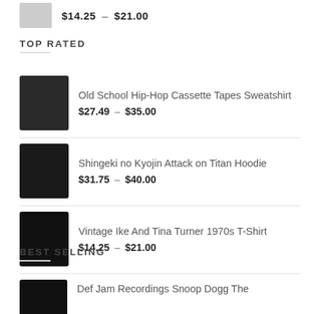$14.25 – $21.00
TOP RATED
Old School Hip-Hop Cassette Tapes Sweatshirt
$27.49 – $35.00
Shingeki no Kyojin Attack on Titan Hoodie
$31.75 – $40.00
Vintage Ike And Tina Turner 1970s T-Shirt
$14.25 – $21.00
BEST SELLING
Def Jam Recordings Snoop Dogg The